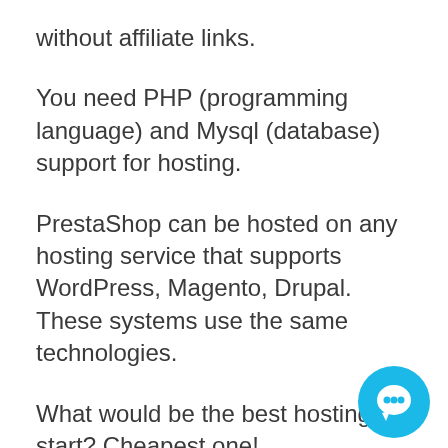without affiliate links.
You need PHP (programming language) and Mysql (database) support for hosting.
PrestaShop can be hosted on any hosting service that supports WordPress, Magento, Drupal. These systems use the same technologies.
What would be the best hosting to start? Cheapest one!
PrestaShop Hosting costs money. It can be something from 2 USD to